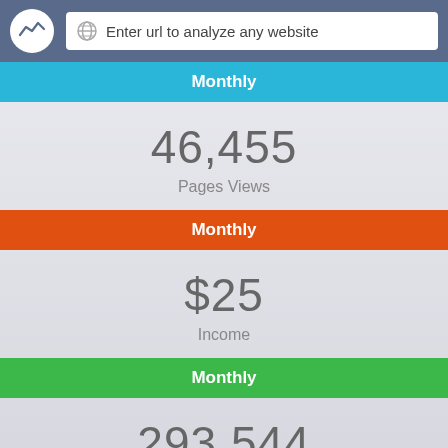Enter url to analyze any website
Monthly
46,455 Pages Views
Monthly
$25 Income
Monthly
293,544 Unique Visits
Yearly